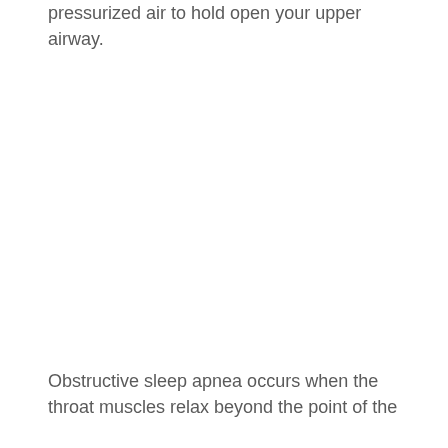pressurized air to hold open your upper airway.
Obstructive sleep apnea occurs when the throat muscles relax beyond the point of the